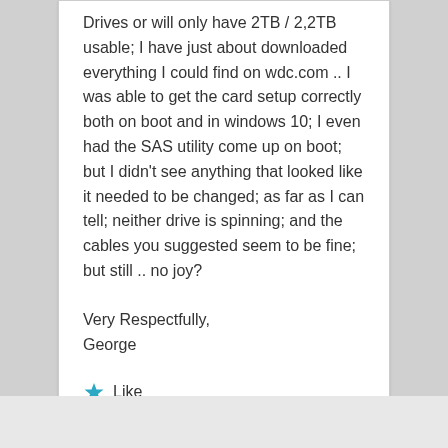Drives or will only have 2TB / 2,2TB usable; I have just about downloaded everything I could find on wdc.com .. I was able to get the card setup correctly both on boot and in windows 10; I even had the SAS utility come up on boot; but I didn't see anything that looked like it needed to be changed; as far as I can tell; neither drive is spinning; and the cables you suggested seem to be fine; but still .. no joy?
Very Respectfully,
George
★ Like